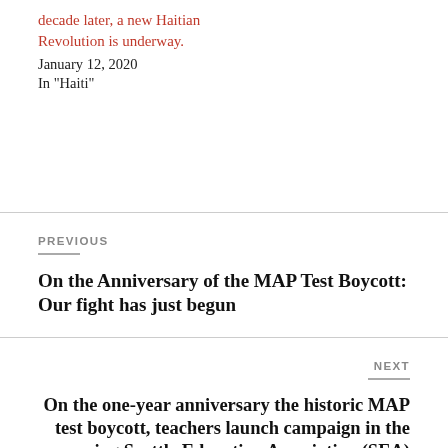decade later, a new Haitian Revolution is underway.
January 12, 2020
In "Haiti"
PREVIOUS
On the Anniversary of the MAP Test Boycott: Our fight has just begun
NEXT
On the one-year anniversary the historic MAP test boycott, teachers launch campaign in the upcoming Seattle Education Association (SEA) union election.